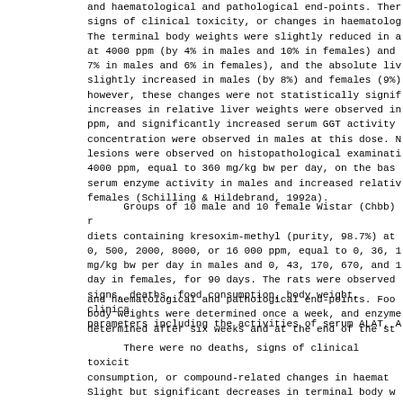and haematological and pathological end-points. There signs of clinical toxicity, or changes in haematolog The terminal body weights were slightly reduced in a at 4000 ppm (by 4% in males and 10% in females) and 7% in males and 6% in females), and the absolute live slightly increased in males (by 8%) and females (9%). however, these changes were not statistically signif increases in relative liver weights were observed in ppm, and significantly increased serum GGT activity concentration were observed in males at this dose. N lesions were observed on histopathological examinatio 4000 ppm, equal to 360 mg/kg bw per day, on the basi serum enzyme activity in males and increased relative females (Schilling & Hildebrand, 1992a).
Groups of 10 male and 10 female Wistar (Chbb) r diets containing kresoxim-methyl (purity, 98.7%) at 0, 500, 2000, 8000, or 16 000 ppm, equal to 0, 36, 1 mg/kg bw per day in males and 0, 43, 170, 670, and 1 day in females, for 90 days. The rats were observed signs, deaths, food consumption, body weight, clinica parameters including the activities of serum ALAT, A
and haematological and pathological end-points. Food body weights were determined once a week, and enzyme determined after six weeks and at the end of the stu
There were no deaths, signs of clinical toxicit consumption, or compound-related changes in haemato Slight but significant decreases in terminal body w